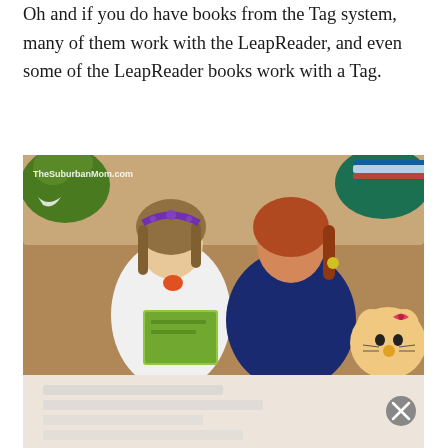Oh and if you do have books from the Tag system, many of them work with the LeapReader, and even some of the LeapReader books work with a Tag.
[Figure (photo): Two young girls sitting side by side on a tan couch, looking at a book together. The left girl wears a white dress with a purple tiara headband; the right girl has red hair and wears a navy shirt. Green stuffed dinosaur visible top left, blue/green stuffed animal top right, Hello Kitty plush bottom right. Watermark reads TheSuburbanMom.com. Below the main photo is a partially visible advertisement bar with a circular close (X) button.]